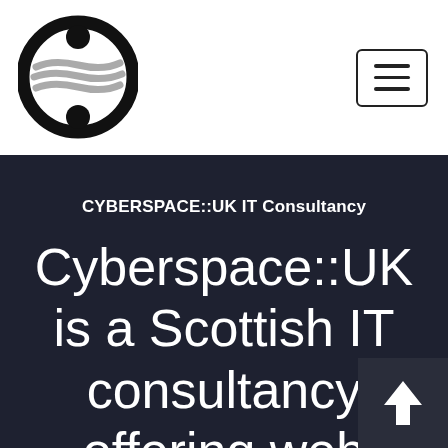[Figure (logo): Cyberspace::UK logo — a circular emblem with a thick black ring, two black circles (top and bottom inside the ring), and three horizontal grey wavy bars through the middle, resembling a stylized figure or yin-yang symbol]
[Figure (other): Hamburger menu button — a rectangular button with a border containing three horizontal lines (≡)]
CYBERSPACE::UK IT Consultancy
Cyberspace::UK is a Scottish IT consultancy offering web agency and